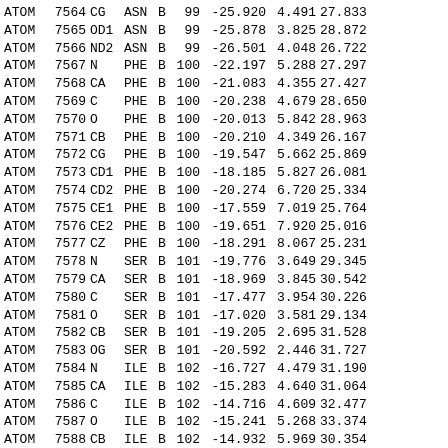| RecType | Serial | Name | ResName | Chain | ResSeq | X | Y | Z |
| --- | --- | --- | --- | --- | --- | --- | --- | --- |
| ATOM | 7564 | CG | ASN | B | 99 | -25.920 | 4.491 | 27.833 |
| ATOM | 7565 | OD1 | ASN | B | 99 | -25.878 | 3.825 | 28.872 |
| ATOM | 7566 | ND2 | ASN | B | 99 | -26.501 | 4.048 | 26.722 |
| ATOM | 7567 | N | PHE | B | 100 | -22.197 | 5.288 | 27.297 |
| ATOM | 7568 | CA | PHE | B | 100 | -21.083 | 4.355 | 27.427 |
| ATOM | 7569 | C | PHE | B | 100 | -20.238 | 4.679 | 28.650 |
| ATOM | 7570 | O | PHE | B | 100 | -20.013 | 5.842 | 28.963 |
| ATOM | 7571 | CB | PHE | B | 100 | -20.210 | 4.349 | 26.167 |
| ATOM | 7572 | CG | PHE | B | 100 | -19.547 | 5.662 | 25.869 |
| ATOM | 7573 | CD1 | PHE | B | 100 | -18.185 | 5.827 | 26.081 |
| ATOM | 7574 | CD2 | PHE | B | 100 | -20.274 | 6.720 | 25.334 |
| ATOM | 7575 | CE1 | PHE | B | 100 | -17.559 | 7.019 | 25.764 |
| ATOM | 7576 | CE2 | PHE | B | 100 | -19.651 | 7.920 | 25.016 |
| ATOM | 7577 | CZ | PHE | B | 100 | -18.291 | 8.067 | 25.231 |
| ATOM | 7578 | N | SER | B | 101 | -19.776 | 3.649 | 29.345 |
| ATOM | 7579 | CA | SER | B | 101 | -18.969 | 3.845 | 30.542 |
| ATOM | 7580 | C | SER | B | 101 | -17.477 | 3.954 | 30.226 |
| ATOM | 7581 | O | SER | B | 101 | -17.020 | 3.581 | 29.134 |
| ATOM | 7582 | CB | SER | B | 101 | -19.205 | 2.695 | 31.528 |
| ATOM | 7583 | OG | SER | B | 101 | -20.592 | 2.446 | 31.727 |
| ATOM | 7584 | N | ILE | B | 102 | -16.727 | 4.479 | 31.190 |
| ATOM | 7585 | CA | ILE | B | 102 | -15.283 | 4.640 | 31.064 |
| ATOM | 7586 | C | ILE | B | 102 | -14.716 | 4.609 | 32.477 |
| ATOM | 7587 | O | ILE | B | 102 | -15.241 | 5.268 | 33.374 |
| ATOM | 7588 | CB | ILE | B | 102 | -14.932 | 5.969 | 30.354 |
| ATOM | 7589 | CG1 | ILE | B | 102 | -13.430 | 6.073 | 30.107 |
| ATOM | 7590 | CG2 | ILE | B | 102 | -15.421 | 7.156 | 31.171 |
| ATOM | 7591 | CD1 | ILE | B | 102 | -12.642 | 6.624 | 31.282 |
| ATOM | 7592 | N | GLN | B | 103 | -13.693 | 3.788 | 32.688 |
| ATOM | 7593 | CA | GLN | B | 103 | -13.069 | 3.669 | 34.006 |